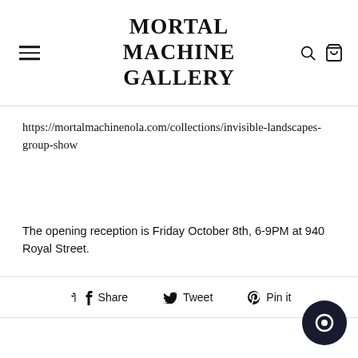MORTAL MACHINE GALLERY
https://mortalmachinenola.com/collections/invisible-landscapes-group-show
The opening reception is Friday October 8th, 6-9PM at 940 Royal Street.
Share  Tweet  Pin it